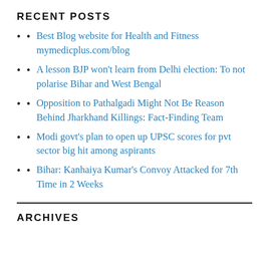RECENT POSTS
Best Blog website for Health and Fitness mymedicplus.com/blog
A lesson BJP won't learn from Delhi election: To not polarise Bihar and West Bengal
Opposition to Pathalgadi Might Not Be Reason Behind Jharkhand Killings: Fact-Finding Team
Modi govt's plan to open up UPSC scores for pvt sector big hit among aspirants
Bihar: Kanhaiya Kumar's Convoy Attacked for 7th Time in 2 Weeks
ARCHIVES